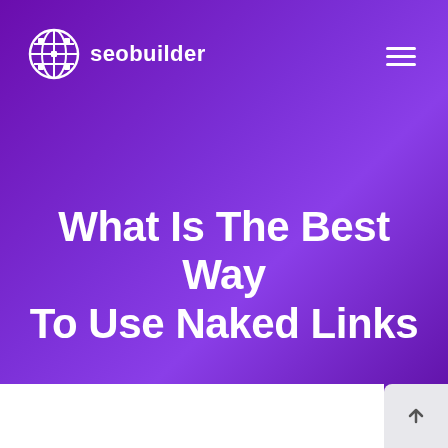[Figure (logo): seobuilder logo with globe/grid icon and text 'seobuilder' in white]
What Is The Best Way To Use Naked Links